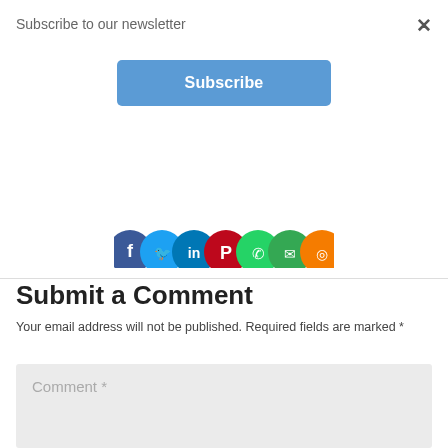Subscribe to our newsletter
[Figure (screenshot): Blue Subscribe button]
[Figure (illustration): Row of social media share icon circles: Facebook (blue), Twitter (light blue), LinkedIn (blue), Pinterest (red), WhatsApp (green), another green icon, and an orange icon, partially cropped at top]
Submit a Comment
Your email address will not be published. Required fields are marked *
Comment *